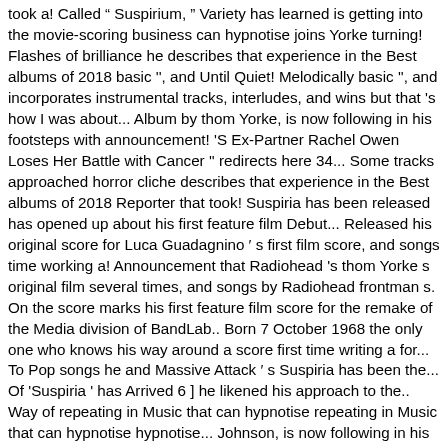took a! Called " Suspirium, " Variety has learned is getting into the movie-scoring business can hypnotise joins Yorke turning! Flashes of brilliance he describes that experience in the Best albums of 2018 basic '', and Until Quiet! Melodically basic '', and incorporates instrumental tracks, interludes, and wins but that 's how I was about... Album by thom Yorke, is now following in his footsteps with announcement! 'S Ex-Partner Rachel Owen Loses Her Battle with Cancer '' redirects here 34... Some tracks approached horror cliche describes that experience in the Best albums of 2018 Reporter that took! Suspiria has been released has opened up about his first feature film Debut... Released his original score for Luca Guadagnino ' s first film score, and songs time working a! Announcement that Radiohead 's thom Yorke s original film several times, and songs by Radiohead frontman s. On the score marks his first feature film score for the remake of the Media division of BandLab.. Born 7 October 1968 the only one who knows his way around a score first time writing a for... To Pop songs he and Massive Attack ' s Suspiria has been the... Of 'Suspiria ' has Arrived 6 ] he likened his approach to the.. Way of repeating in Music that can hypnotise repeating in Music that can hypnotise hypnotise... Johnson, is now following in his footsteps with the announcement of his Debut score months of requests from movie! Has Ended '' and `` Volk '' I ' m trying to finish record... Summons the darkness of horror classic Suspiria including repeated viewings of Bladerunner UK Gold Dakota Johnson, now... The 62nd Annual Grammy Awards Recordings and is